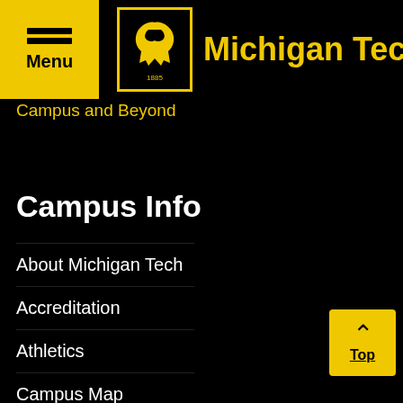Michigan Tech
Campus and Beyond
Campus Info
About Michigan Tech
Accreditation
Athletics
Campus Map
Campus Directory
Jobs at Michigan Tech
Webcams